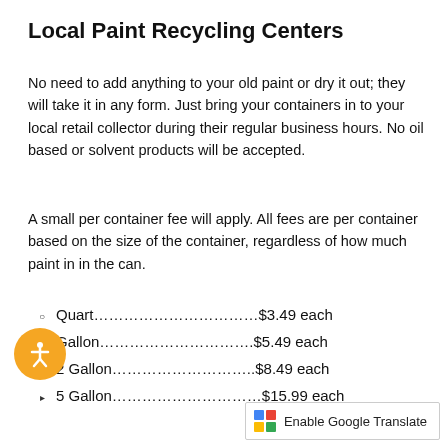Local Paint Recycling Centers
No need to add anything to your old paint or dry it out; they will take it in any form. Just bring your containers in to your local retail collector during their regular business hours. No oil based or solvent products will be accepted.
A small per container fee will apply. All fees are per container based on the size of the container, regardless of how much paint in in the can.
Quart…………………………$3.49 each
Gallon…………………………$5.49 each
2 Gallon………………………$8.49 each
5 Gallon………………………$15.99 each